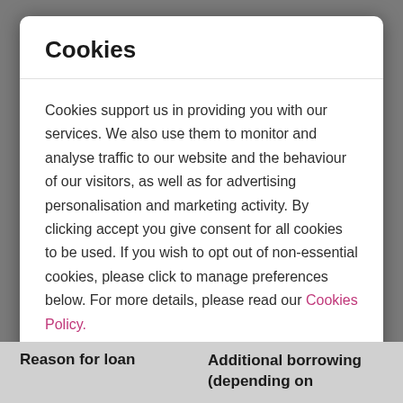Cookies
Cookies support us in providing you with our services. We also use them to monitor and analyse traffic to our website and the behaviour of our visitors, as well as for advertising personalisation and marketing activity. By clicking accept you give consent for all cookies to be used. If you wish to opt out of non-essential cookies, please click to manage preferences below. For more details, please read our Cookies Policy.
Accept | Manage Preferences
Reason for loan
Additional borrowing (depending on